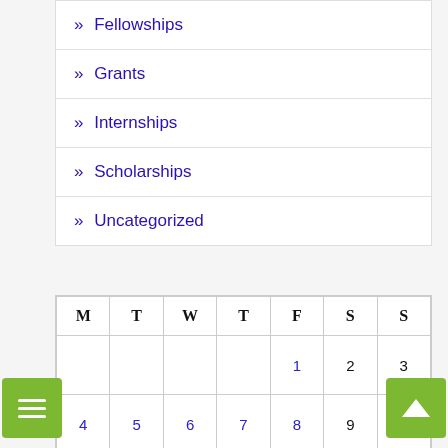» Fellowships
» Grants
» Internships
» Scholarships
» Uncategorized
| M | T | W | T | F | S | S |
| --- | --- | --- | --- | --- | --- | --- |
|  |  |  |  | 1 | 2 | 3 |
| 4 | 5 | 6 | 7 | 8 | 9 | 10 |
| 11 | 12 | 13 | 14 | 15 | 16 | 17 |
| 18 | 19 | 20 | 21 | 22 | 23 | 24 |